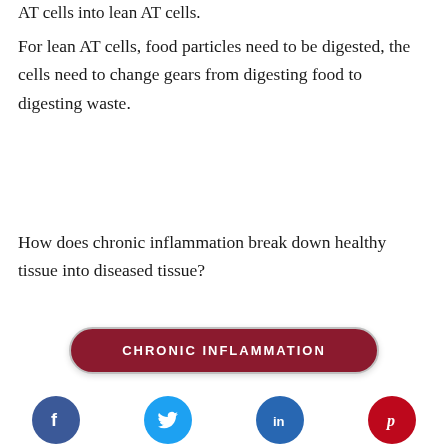AT cells into lean AT cells.
For lean AT cells, food particles need to be digested, the cells need to change gears from digesting food to digesting waste.
How does chronic inflammation break down healthy tissue into diseased tissue?
[Figure (other): Dark red oval button with white uppercase text reading CHRONIC INFLAMMATION]
[Figure (other): Social media icons row: Facebook (blue circle), Twitter (blue circle), LinkedIn (blue circle), Pinterest (red circle)]